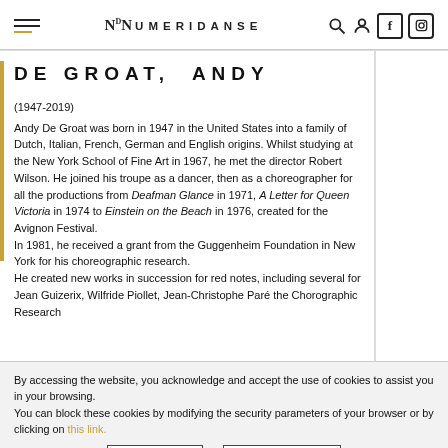NUMERIDANSE
DE GROAT, ANDY
(1947-2019)
Andy De Groat was born in 1947 in the United States into a family of Dutch, Italian, French, German and English origins. Whilst studying at the New York School of Fine Art in 1967, he met the director Robert Wilson. He joined his troupe as a dancer, then as a choreographer for all the productions from Deafman Glance in 1971, A Letter for Queen Victoria in 1974 to Einstein on the Beach in 1976, created for the Avignon Festival.
In 1981, he received a grant from the Guggenheim Foundation in New York for his choreographic research.
He created new works in succession for red notes, including several for Jean Guizerix, Wilfride Piollet, Jean-Christophe Paré the Chorographic Research...
By accessing the website, you acknowledge and accept the use of cookies to assist you in your browsing.
You can block these cookies by modifying the security parameters of your browser or by clicking on this link.
I accept    Learn more